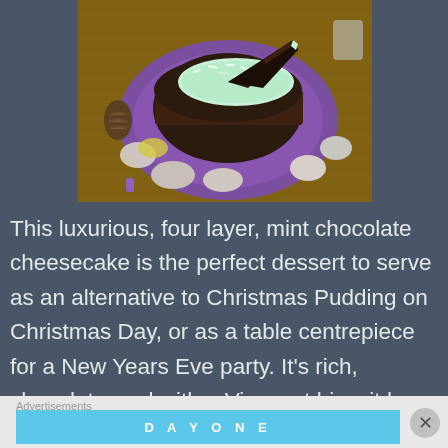[Figure (photo): A chocolate cake with mint coconut ice topping on a purple plate, placed on a wooden board with decorative stones and pine cones around it. A slice has been removed revealing the layers inside.]
This luxurious, four layer, mint chocolate cheesecake is the perfect dessert to serve as an alternative to Christmas Pudding on Christmas Day, or as a table centrepiece for a New Years Eve party. It's rich, chocolaty, and with a Viscount biscuit base and a mint coconut ice top, it's got a lovely hint of mint ...
Advertisements
DAY ONE